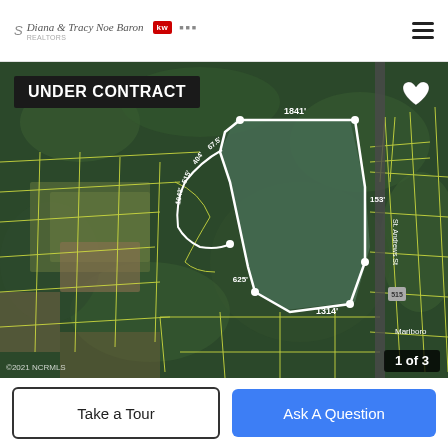Diana & Tracy Noe Baron | KW real estate logo | hamburger menu
[Figure (map): Aerial/satellite map showing a land parcel outlined in white with property boundary measurements (1841', 153', 1314', 625', 1043', etc.) and yellow property grid lines overlaid on forested and agricultural land near Marlboro. Roads and neighboring parcels visible. 'UNDER CONTRACT' badge in top-left, heart icon top-right, '1 of 3' counter bottom-right, '©2021 NCRMLS' watermark bottom-left.]
UNDER CONTRACT
1 of 3
©2021 NCRMLS
Take a Tour
Ask A Question